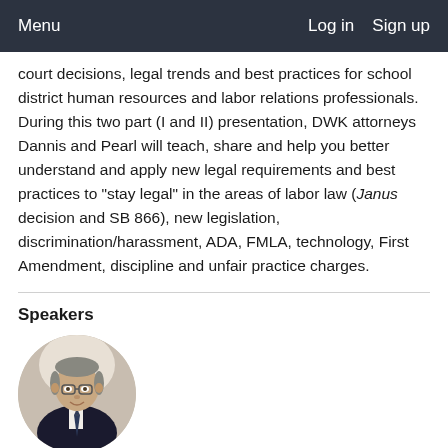Menu   Log in   Sign up
court decisions, legal trends and best practices for school district human resources and labor relations professionals. During this two part (I and II) presentation, DWK attorneys Dannis and Pearl will teach, share and help you better understand and apply new legal requirements and best practices to "stay legal" in the areas of labor law (Janus decision and SB 866), new legislation, discrimination/harassment, ADA, FMLA, technology, First Amendment, discipline and unfair practice charges.
Speakers
[Figure (photo): Circular headshot photo of Greg Dannis, a man with glasses wearing a dark suit and tie, light background.]
Greg Dannis